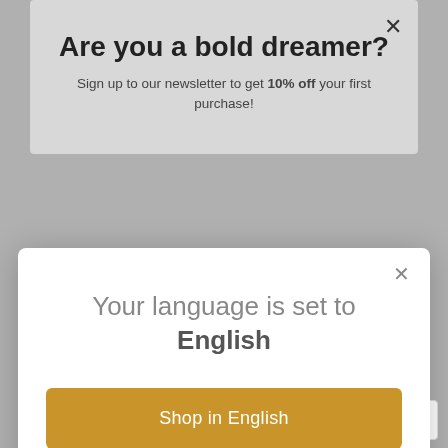Are you a bold dreamer?
Sign up to our newsletter to get 10% off your first purchase!
Your language is set to English
Shop in English
Change language
*By subscribing, I accept the privacy terms and I give my consent to receive Endelea newsletter.
Privacy e Cookie Policy